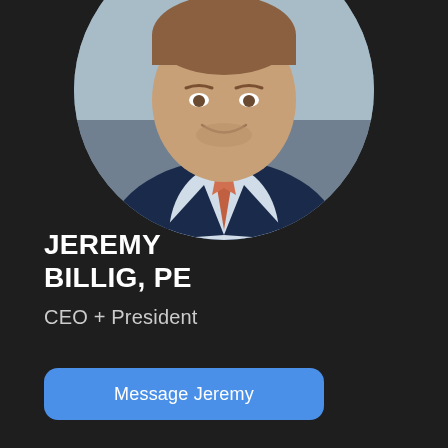[Figure (photo): Circular cropped headshot of a young professional man in a navy suit with a patterned tie, smiling, photographed against a blurred office background.]
JEREMY BILLIG, PE
CEO + President
Message Jeremy